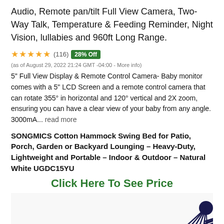Audio, Remote pan/tilt Full View Camera, Two-Way Talk, Temperature & Feeding Reminder, Night Vision, lullabies and 960ft Long Range.
★★★★★ (116) 28% Off (as of August 29, 2022 21:24 GMT -04:00 - More info) 5" Full View Display & Remote Control Camera- Baby monitor comes with a 5" LCD Screen and a remote control camera that can rotate 355° in horizontal and 120° vertical and 2X zoom, ensuring you can have a clear view of your baby from any angle. 3000mA... read more
SONGMICS Cotton Hammock Swing Bed for Patio, Porch, Garden or Backyard Lounging – Heavy-Duty, Lightweight and Portable – Indoor & Outdoor – Natural White UGDC15YU
Click Here To See Price
[Figure (photo): Partial photo of a dark navy hammock swing bed showing ropes and fabric at bottom of page]